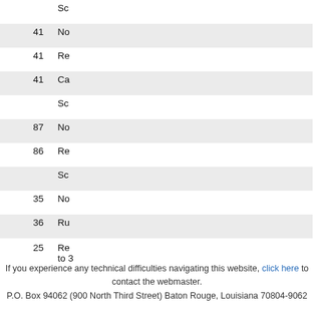| Date | Type | Num | Description |
| --- | --- | --- | --- |
| 05/10 | H |  | Sc... |
| 05/10 | H | 41 | No... |
| 05/10 | H | 41 | Re... |
| 05/10 | H | 41 | Ca... |
| 05/04 | H |  | Sc... |
| 05/04 | H | 87 | No... |
| 05/04 | H | 86 | Re... |
| 05/03 | H |  | Sc... |
| 05/03 | H | 35 | No... |
| 05/03 | H | 36 | Ru... |
| 04/29 | H | 25 | Re... to 3... |
| 04/28 | H | 11 | Re... ove... sub... Co... Jus... |
If you experience any technical difficulties navigating this website, click here to contact the webmaster.
P.O. Box 94062 (900 North Third Street) Baton Rouge, Louisiana 70804-9062